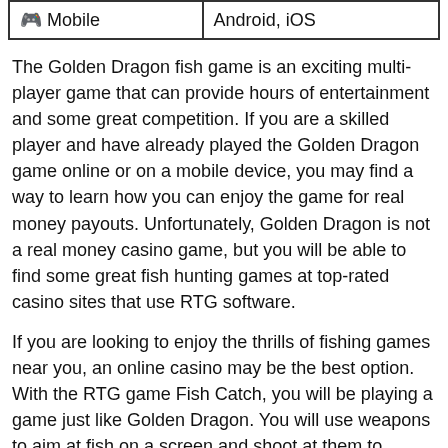| 🎮 Mobile | Android, iOS |
The Golden Dragon fish game is an exciting multi-player game that can provide hours of entertainment and some great competition. If you are a skilled player and have already played the Golden Dragon game online or on a mobile device, you may find a way to learn how you can enjoy the game for real money payouts. Unfortunately, Golden Dragon is not a real money casino game, but you will be able to find some great fish hunting games at top-rated casino sites that use RTG software.
If you are looking to enjoy the thrills of fishing games near you, an online casino may be the best option. With the RTG game Fish Catch, you will be playing a game just like Golden Dragon. You will use weapons to aim at fish on a screen and shoot at them to collect the most points possible. With Fish Catch, you will dive into the deep water and see various fish that swim across the screen.